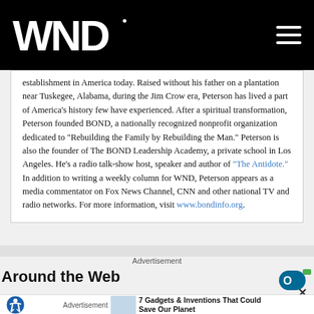WND
establishment in America today. Raised without his father on a plantation near Tuskegee, Alabama, during the Jim Crow era, Peterson has lived a part of America's history few have experienced. After a spiritual transformation, Peterson founded BOND, a nationally recognized nonprofit organization dedicated to "Rebuilding the Family by Rebuilding the Man." Peterson is also the founder of The BOND Leadership Academy, a private school in Los Angeles. He's a radio talk-show host, speaker and author of "The Antidote." In addition to writing a weekly column for WND, Peterson appears as a media commentator on Fox News Channel, CNN and other national TV and radio networks. For more information, visit www.bondinfo.org.
Advertisement
Around the Web
Advertisement
7 Gadgets & Inventions That Could Save Our Planet